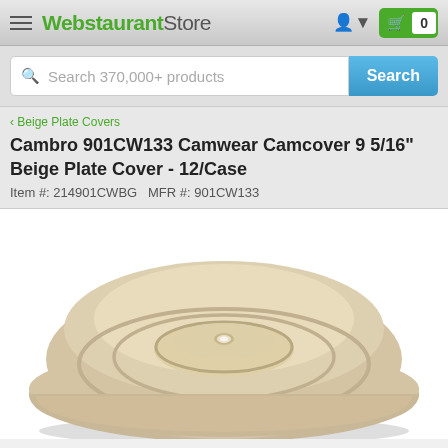WebstaurantStore
Search 370,000+ products
< Beige Plate Covers
Cambro 901CW133 Camwear Camcover 9 5/16" Beige Plate Cover - 12/Case
Item #: 214901CWBG  MFR #: 901CW133
[Figure (photo): Beige dome-shaped plate cover photographed from above showing concentric ridges and a small center hole, in a warm beige/tan color.]